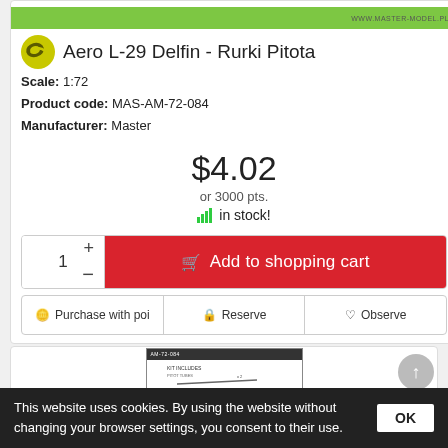[Figure (logo): Green banner with www.master-model.pl text and Master Model logo]
Aero L-29 Delfin - Rurki Pitota
Scale: 1:72
Product code: MAS-AM-72-084
Manufacturer: Master
$4.02
or 3000 pts.
in stock!
[Figure (screenshot): Add to shopping cart button with quantity selector (1) and red Add to shopping cart button]
Purchase with poi  Reserve  Observe
[Figure (photo): Product packaging image showing AM-72-084 label with mounting instructions]
This website uses cookies. By using the website without changing your browser settings, you consent to their use.